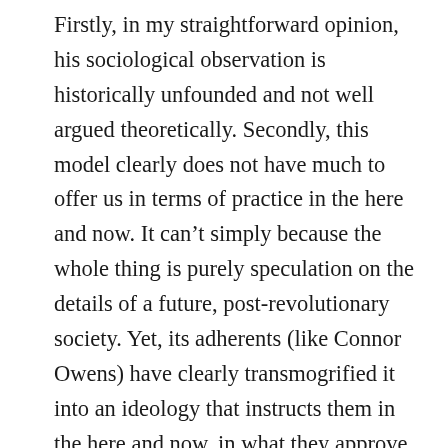Firstly, in my straightforward opinion, his sociological observation is historically unfounded and not well argued theoretically. Secondly, this model clearly does not have much to offer us in terms of practice in the here and now. It can't simply because the whole thing is purely speculation on the details of a future, post-revolutionary society. Yet, its adherents (like Connor Owens) have clearly transmogrified it into an ideology that instructs them in the here and now, in what they approve and disapprove of. And it is on such ideological basis everyone, from “classical” anarchists to marxists (regardless of their different approaches)